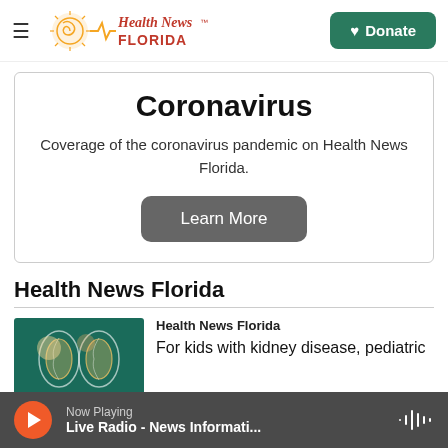Health News Florida
Coronavirus
Coverage of the coronavirus pandemic on Health News Florida.
Learn More
Health News Florida
Health News Florida
For kids with kidney disease, pediatric
Now Playing
Live Radio - News Informati...